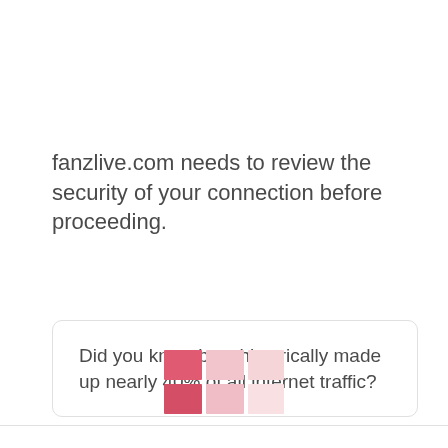fanzlive.com needs to review the security of your connection before proceeding.
Did you know bots historically made up nearly 40% of all internet traffic?
[Figure (logo): Colorful grid logo with pink and light pink squares arranged in a 2x3 pattern]